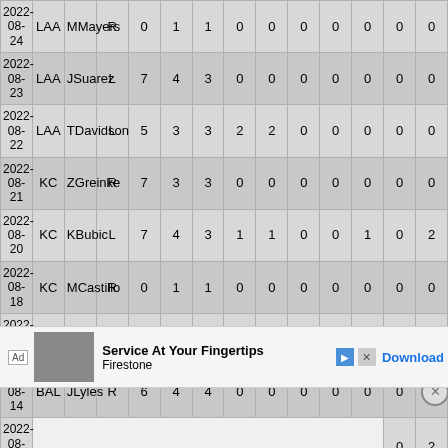| 2022-08-24 | LAA | MMayers | R | 0 | 1 | 1 | 0 | 0 | 0 | 0 | 0 | 0 | 0 |
| 2022-08-23 | LAA | JSuarez | L | 7 | 4 | 3 | 0 | 0 | 0 | 0 | 0 | 0 | 0 |
| 2022-08-22 | LAA | TDavidson | L | 5 | 3 | 3 | 2 | 2 | 0 | 0 | 0 | 0 | 0 |
| 2022-08-21 | KC | ZGreinke | R | 7 | 3 | 3 | 0 | 0 | 0 | 0 | 0 | 0 | 0 |
| 2022-08-20 | KC | KBubic | L | 7 | 4 | 3 | 1 | 1 | 0 | 0 | 1 | 0 | 2 |
| 2022-08-18 | KC | MCastillo | R | 0 | 1 | 1 | 0 | 0 | 0 | 0 | 0 | 0 | 0 |
| 2022-08-16 | @NYY | NCortes | L | 8 | 2 | 2 | 0 | 0 | 0 | 0 | 0 | 0 | 0 |
| 2022-08-14 | BAL | JLyles | R | 6 | 4 | 4 | 0 | 0 | 0 | 0 | 0 | 0 |  |
| 2022-08-13 |  |  |  |  |  |  |  |  |  |  |  | 0 | 2 |